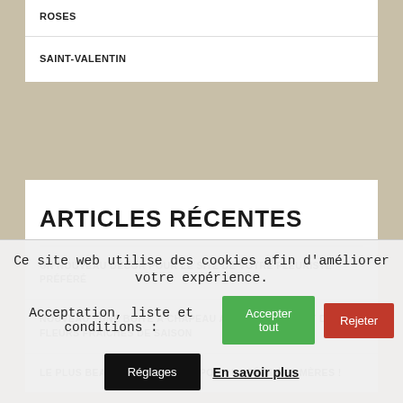ROSES
SAINT-VALENTIN
ARTICLES RÉCENTES
UN NOUVEAU DÉCOR POUR LE SITE DE VOTRE FLEURISTE PRÉFÉRÉ
NOUVEAU : UNE BOITE À CHAPEAU AVEC UN BOUQUET DE FLEURS FRAICHES DE SAISON
LE PLUS BEAU DES BOUQUETS POUR LA FÊTE DES MÈRES !
Ce site web utilise des cookies afin d'améliorer votre expérience.
Acceptation, liste et conditions :
Accepter tout
Rejeter
Réglages
En savoir plus